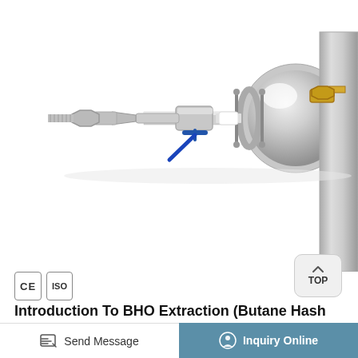[Figure (photo): Close-up photograph of stainless steel closed-loop extractor equipment showing ball valve with blue handle, fittings, connectors, and a polished hemispherical end cap with brass fitting on the right.]
[Figure (logo): CE certification mark badge and ISO certification badge displayed side by side in bordered rectangles.]
Introduction To BHO Extraction (Butane Hash Oil)
Closed Loop Extractor, Closed-Loop-extractors Highest Quality Essential Oil Extractor Design